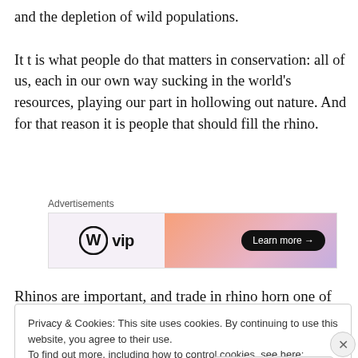and the depletion of wild populations.
It t is what people do that matters in conservation: all of us, each in our own way sucking in the world’s resources, playing our part in hollowing out nature. And for that reason it is people that should fill the rhino.
[Figure (other): WordPress VIP advertisement banner with gradient background and 'Learn more →' button]
Rhinos are important, and trade in rhino horn one of many
Privacy & Cookies: This site uses cookies. By continuing to use this website, you agree to their use.
To find out more, including how to control cookies, see here: Cookie Policy